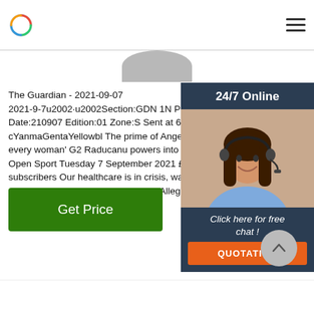Logo and navigation header
The Guardian - 2021-09-07
2021-9-7u2002·u2002Section:GDN 1N PaGe:1 Ed
Date:210907 Edition:01 Zone:S Sent at 6/9/2021
cYanmaGentaYellowbl The prime of Angela Bass
every woman' G2 Raducanu powers into quarter
Open Sport Tuesday 7 September 2021 £2.50 Fr
subscribers Our healthcare is in crisis, warns Jo
quell rebellion Jessica Elgot Aubrey Allegretti He
[Figure (infographic): 24/7 Online sidebar with photo of woman wearing headset, Click here for free chat text, and QUOTATION button]
Get Price
[Figure (other): Scroll-up arrow button]